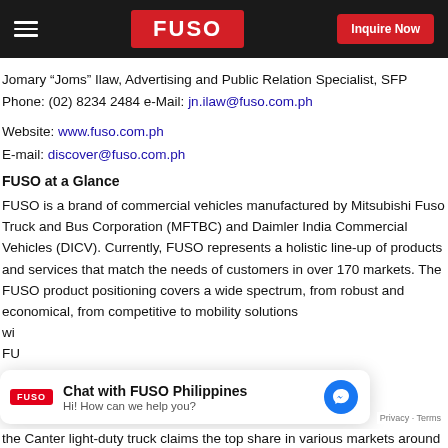FUSO | Inquire Now
Jomary “Joms” Ilaw, Advertising and Public Relation Specialist, SFP
Phone: (02) 8234 2484 e-Mail: jn.ilaw@fuso.com.ph
Website: www.fuso.com.ph
E-mail: discover@fuso.com.ph
FUSO at a Glance
FUSO is a brand of commercial vehicles manufactured by Mitsubishi Fuso Truck and Bus Corporation (MFTBC) and Daimler India Commercial Vehicles (DICV). Currently, FUSO represents a holistic line-up of products and services that match the needs of customers in over 170 markets. The FUSO product positioning covers a wide spectrum, from robust and economical, from competitive to mobility solutions wi... FU...
[Figure (screenshot): Chat with FUSO Philippines chat widget overlay showing FUSO logo, title 'Chat with FUSO Philippines', subtitle 'Hi! How can we help you?' and a Messenger icon.]
the Canter light-duty truck claims the top share in various markets around